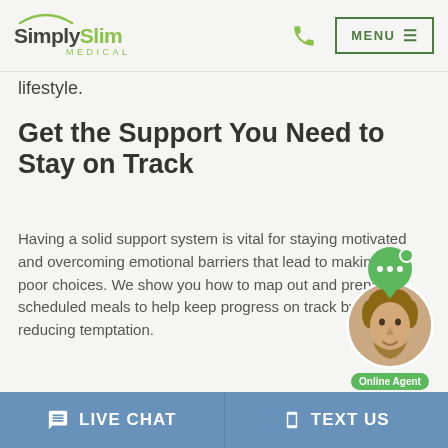SimplySlim MEDICAL | MENU
lifestyle.
Get the Support You Need to Stay on Track
Having a solid support system is vital for staying motivated and overcoming emotional barriers that lead to making poor choices. We show you how to map out and prepare scheduled meals to help keep progress on track by reducing temptation.
Exercise and Nutrit…
[Figure (illustration): Live chat widget with agent avatar, chat bubble icon, and Online Agent label]
LIVE CHAT | TEXT US